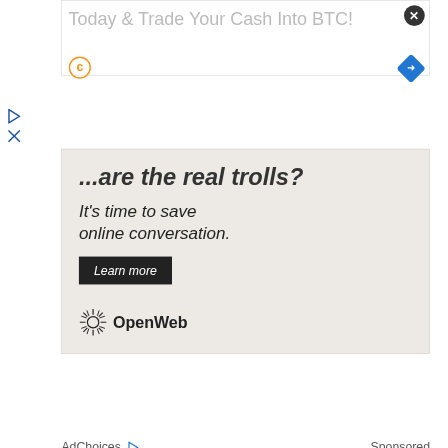[Figure (screenshot): Overlay advertisement popup with text 'Today & Trade Your Cash Into BTC!' with close button (X) and blue arrow button, and Coinbase-style logo]
[Figure (screenshot): Advertisement banner with beige/tan background showing partial headline '...are the real trolls?', subtext 'It's time to save online conversation.', a 'Learn more' dark button, and OpenWeb logo]
AdChoices ▷   Sponsored
Related Articles
[Figure (screenshot): Partial thumbnail image at bottom of page]
Sections  Real Estate  Contact  Events  Taste